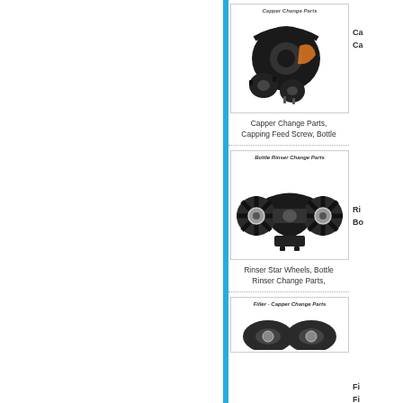[Figure (illustration): Capper Change Parts mechanical gears and components, dark colored industrial parts with orange accent, labeled 'Capper Change Parts']
Capper Change Parts, Capping Feed Screw, Bottle
Ca Ca
[Figure (illustration): Bottle Rinser Change Parts showing star wheels in dark metallic finish, labeled 'Bottle Rinser Change Parts']
Rinser Star Wheels, Bottle Rinser Change Parts,
Ri Bo
[Figure (illustration): Filler - Capper Change Parts, partial view of components, labeled 'Filler - Capper Change Parts']
Fi Fi